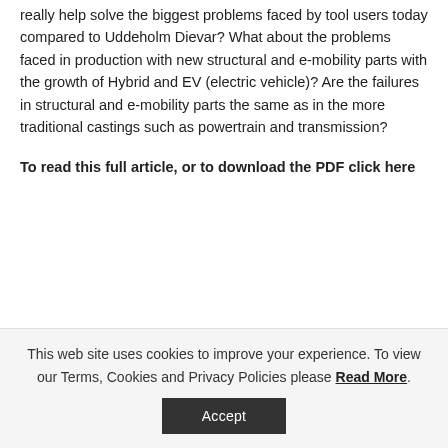really help solve the biggest problems faced by tool users today compared to Uddeholm Dievar? What about the problems faced in production with new structural and e-mobility parts with the growth of Hybrid and EV (electric vehicle)? Are the failures in structural and e-mobility parts the same as in the more traditional castings such as powertrain and transmission?
To read this full article, or to download the PDF click here
7th August 2019 | in Latest news |
This web site uses cookies to improve your experience. To view our Terms, Cookies and Privacy Policies please Read More.
Accept